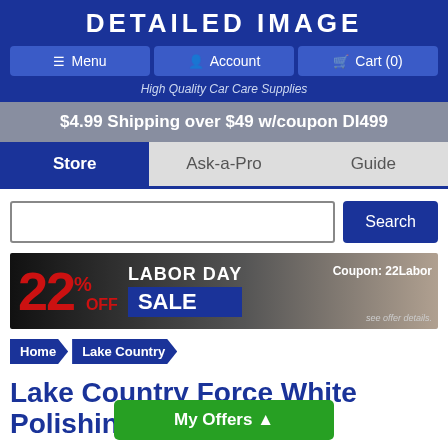DETAILED IMAGE
Menu | Account | Cart (0)
High Quality Car Care Supplies
$4.99 Shipping over $49 w/coupon DI499
Store | Ask-a-Pro | Guide
[Figure (screenshot): 22% OFF LABOR DAY SALE banner with coupon code 22Labor]
Home > Lake Country
Lake Country Force White Polishing
My Offers